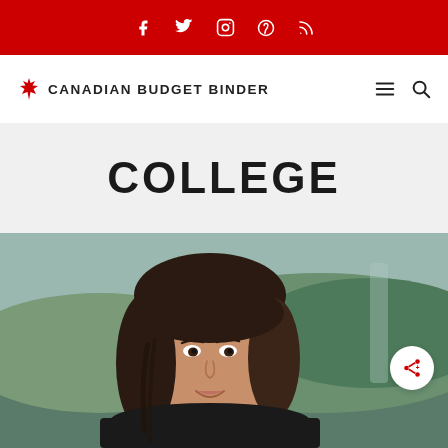Social media icons: Facebook, Twitter, Instagram, Pinterest, RSS
[Figure (logo): Canadian Budget Binder logo with red maple leaf icon and site name in bold uppercase letters, plus hamburger menu and search icons on the right]
COLLEGE
[Figure (photo): Young Asian woman with long dark hair smiling outdoors with green hills/mountains in the background]